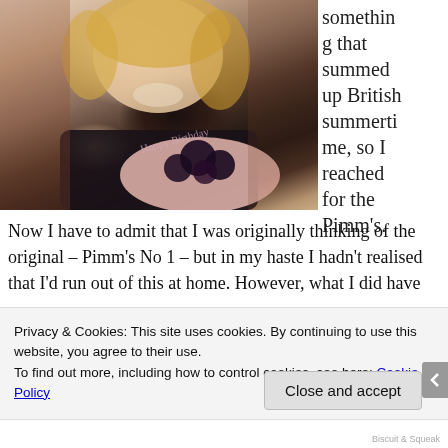[Figure (photo): A smiling young woman with blonde hair holding a birthday cake decorated with blackberries and a sparkly 'Happy Birthday' cake topper]
something that summed up British summertime, so I reached for the Pimm's.
Now I have to admit that I was originally thinking of the original – Pimm's No 1 – but in my haste I hadn't realised that I'd run out of this at home. However, what I did have
Privacy & Cookies: This site uses cookies. By continuing to use this website, you agree to their use.
To find out more, including how to control cookies, see here: Cookie Policy
Close and accept